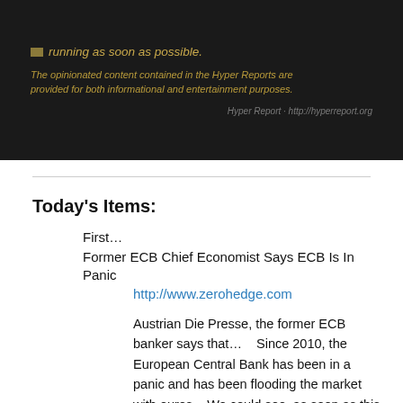[Figure (screenshot): Dark banner with golden/olive text showing a disclaimer about Hyper Reports opinionated content being provided for informational and entertainment purposes, with a small colored bullet and partial text 'running as soon as possible.']
Today's Items:
First…
Former ECB Chief Economist Says ECB Is In Panic
http://www.zerohedge.com
Austrian Die Presse, the former ECB banker says that…    Since 2010, the European Central Bank has been in a panic and has been flooding the market with euros.    We could see, as soon as this December, the collapse of Greece.    We may be seeing that the destruction of Europe's